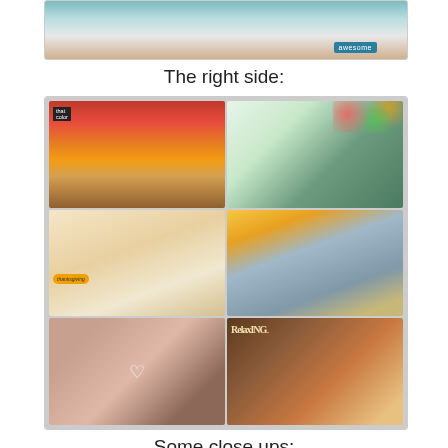[Figure (photo): Partial view of a scrapbook page from above, showing teal/blue colored elements and a label reading 'awesome']
The right side:
[Figure (photo): Scrapbook layout showing right side page. Grid of 6 panels: top-left shows stacked folded clothes (red/yellow/white), top-right shows a family group photo with dot border, middle-left shows journal cards with speech bubble and arrow sticker, middle-right shows a landscape/outdoor photo with a calendar card, bottom-left shows baby/child photos with a heart embellishment, bottom-right shows a 'RelaxING' card with a child photo.]
Some close ups:
[Figure (photo): Partial view of close-up scrapbook elements including a tag reading '{of a good life}' with teal ribbon/tape, yellow striped patterned paper, and handwritten journaling.]